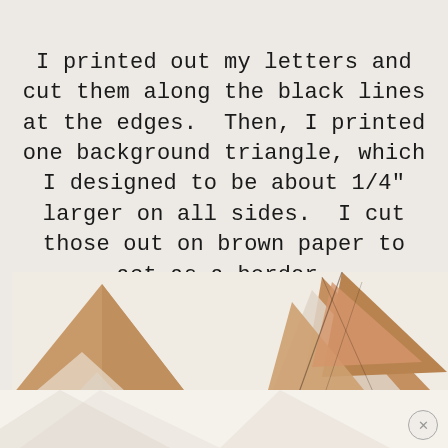I printed out my letters and cut them along the black lines at the edges.  Then, I printed one background triangle, which I designed to be about 1/4" larger on all sides.  I cut those out on brown paper to act as a border.
[Figure (photo): Photo of brown kraft paper triangles cut out and overlapping, showing the background triangle border pieces alongside letter triangles, on a light beige background.]